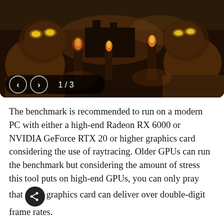[Figure (photo): Screenshot of a dark atmospheric game/benchmark scene showing two stone lion statues with glowing yellow eyes flanking a path, with torches and a gloomy forest/building background at night. Navigation bar overlay at bottom shows back/forward arrows and '1 / 3' counter.]
The benchmark is recommended to run on a modern PC with either a high-end Radeon RX 6000 or NVIDIA GeForce RTX 20 or higher graphics card considering the use of raytracing. Older GPUs can run the benchmark but considering the amount of stress this tool puts on high-end GPUs, you can only pray that your graphics card can deliver over double-digit frame rates.
The benchmark can be downloaded from Steam and weighs in at around 20 GB due to the use of higher-res